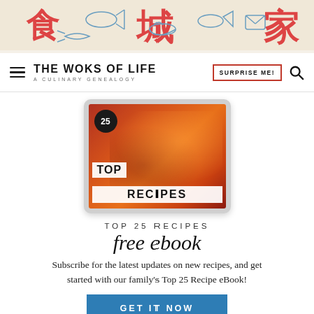[Figure (illustration): Decorative banner with Chinese characters (食, 城, 家) in orange/red and blue illustrated food drawings on a cream background]
THE WOKS OF LIFE — A CULINARY GENEALOGY | SURPRISE ME! | Search
[Figure (photo): Tablet device showing a food photo of orange/red Chinese dish with text overlay: 25, TOP RECIPES]
TOP 25 RECIPES
free ebook
Subscribe for the latest updates on new recipes, and get started with our family's Top 25 Recipe eBook!
GET IT NOW